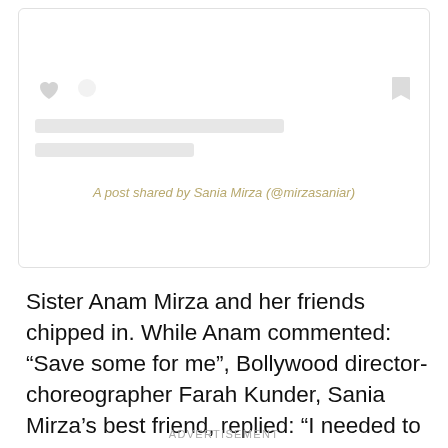[Figure (screenshot): Instagram embedded post placeholder showing heart and comment icons, two loading skeleton bars, and a caption 'A post shared by Sania Mirza (@mirzasaniar)']
Sister Anam Mirza and her friends chipped in. While Anam commented: “Save some for me”, Bollywood director-choreographer Farah Kunder, Sania Mirza’s best friend, replied: “I needed to be there.”
ADVERTISEMENT